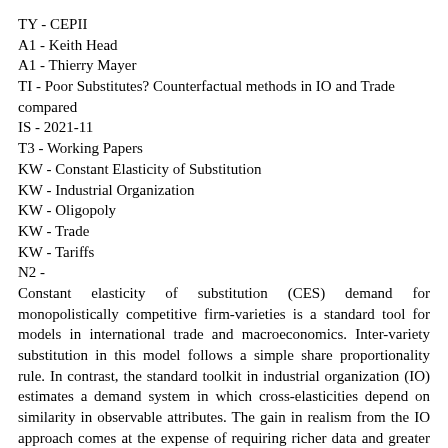TY - CEPII
A1 - Keith Head
A1 - Thierry Mayer
TI - Poor Substitutes? Counterfactual methods in IO and Trade compared
IS - 2021-11
T3 - Working Papers
KW - Constant Elasticity of Substitution
KW - Industrial Organization
KW - Oligopoly
KW - Trade
KW - Tariffs
N2 -
Constant elasticity of substitution (CES) demand for monopolistically competitive firm-varieties is a standard tool for models in international trade and macroeconomics. Inter-variety substitution in this model follows a simple share proportionality rule. In contrast, the standard toolkit in industrial organization (IO) estimates a demand system in which cross-elasticities depend on similarity in observable attributes. The gain in realism from the IO approach comes at the expense of requiring richer data and greater computational challenges. This paper uses the dataset of Berry et al. 1995, who established the modern IO method, to simulate counterfactual trade policy experiments. We use the CES model as an approximation of the more complex underlying demand system